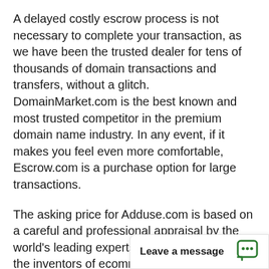A delayed costly escrow process is not necessary to complete your transaction, as we have been the trusted dealer for tens of thousands of domain transactions and transfers, without a glitch. DomainMarket.com is the best known and most trusted competitor in the premium domain name industry. In any event, if it makes you feel even more comfortable, Escrow.com is a purchase option for large transactions.
The asking price for Adduse.com is based on a careful and professional appraisal by the world's leading experts on domain valuations, the inventors of ecommerce for premium domains. The price is explicitly certified to be fair by real experts, so the buyer can be confident in the great long-term value and investment oppo[rtunity represented by the] asset in question.